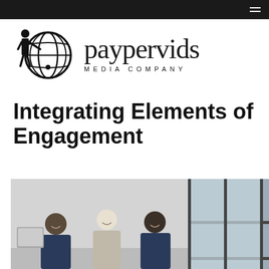[Figure (logo): Paypervids Media Company logo: stylized human figure standing next to a globe/grid sphere icon, with the handwritten-style brand name 'paypervids' and subtitle 'MEDIA COMPANY']
Integrating Elements of Engagement
[Figure (photo): Office photo showing three people (two men and a woman with light hair) sitting together, smiling, looking at something off-camera, with large windows in the background]